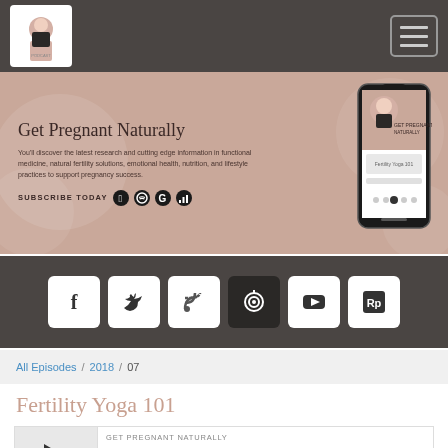Get Pregnant Naturally - podcast website header with logo and hamburger menu
[Figure (screenshot): Podcast banner with title 'Get Pregnant Naturally', description text, subscribe icons, and phone mockup image on a mauve/pink background]
[Figure (infographic): Dark social media links bar with icons: Facebook, Twitter, RSS, Listennotes, YouTube, RadioPublic]
All Episodes / 2018 / 07
Fertility Yoga 101
[Figure (screenshot): Audio player card showing 'GET PREGNANT NATURALLY' label, episode title 'Fertility Yoga 101', play button, and progress bar]
[Figure (infographic): Audio player bottom controls with time 00:00:00 and share/embed icons]